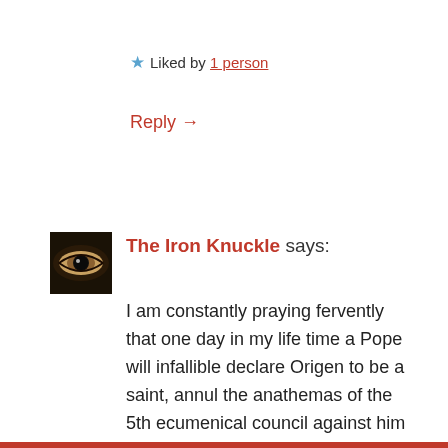★ Liked by 1 person
Reply →
The Iron Knuckle says:
I am constantly praying fervently that one day in my life time a Pope will infallible declare Origen to be a saint, annul the anathemas of the 5th ecumenical council against him and dogmatically define Universal salvation as the official stance of the Catholic church.